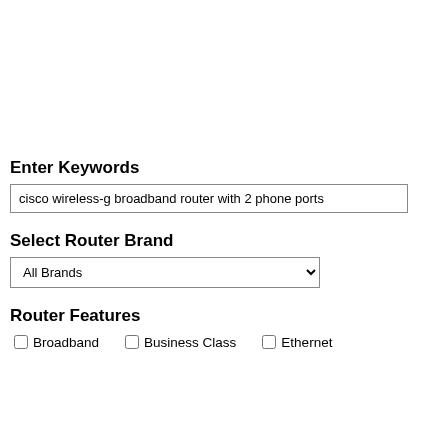Enter Keywords
cisco wireless-g broadband router with 2 phone ports
Select Router Brand
All Brands
Router Features
Broadband
Business Class
Ethernet